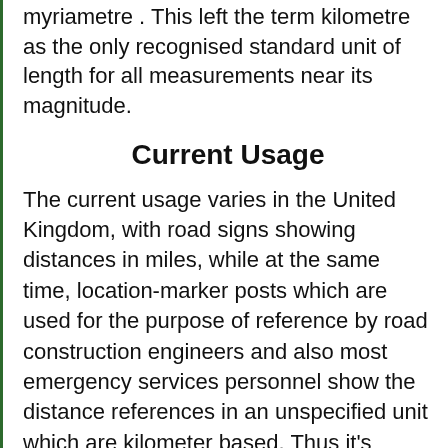myriametre . This left the term kilometre as the only recognised standard unit of length for all measurements near its magnitude.
Current Usage
The current usage varies in the United Kingdom, with road signs showing distances in miles, while at the same time, location-marker posts which are used for the purpose of reference by road construction engineers and also most emergency services personnel show the distance references in an unspecified unit which are kilometer based. Thus it's usage varies in different fields and departments.
In the US, however, the stated National Highway System Designation Act, 1995 bans the federal highway funds from being used for the purpose of